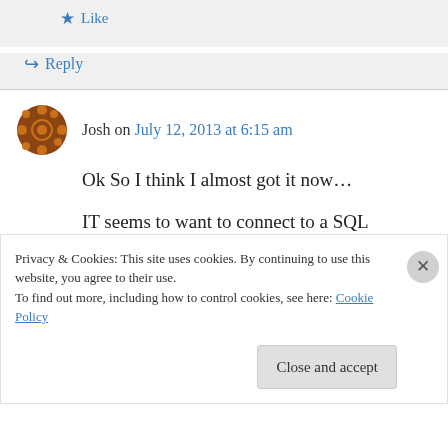Like
Reply
Josh on July 12, 2013 at 6:15 am
Ok So I think I almost got it now…
IT seems to want to connect to a SQL database in order to generate the views? Is this normal for a Code first scenario? Shouldn't it just read off of
Privacy & Cookies: This site uses cookies. By continuing to use this website, you agree to their use.
To find out more, including how to control cookies, see here: Cookie Policy
Close and accept